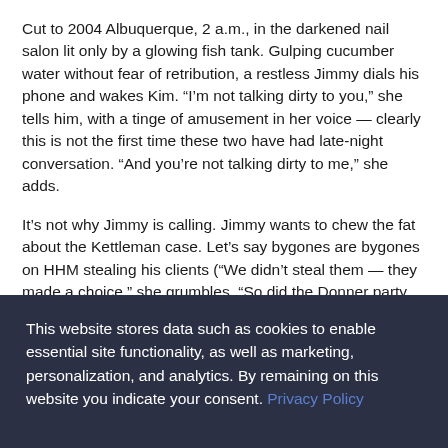Cut to 2004 Albuquerque, 2 a.m., in the darkened nail salon lit only by a glowing fish tank. Gulping cucumber water without fear of retribution, a restless Jimmy dials his phone and wakes Kim. “I’m not talking dirty to you,” she tells him, with a tinge of amusement in her voice — clearly this is not the first time these two have had late-night conversation. “And you’re not talking dirty to me,” she adds.
It’s not why Jimmy is calling. Jimmy wants to chew the fat about the Kettleman case. Let’s say bygones are bygones on HHM stealing his clients (“We didn’t steal them — they made a choice,” she grumbles. “So did the Donner party when they took that shortcut,” he retorts) but gosh, just for the sake of
This website stores data such as cookies to enable essential site functionality, as well as marketing, personalization, and analytics. By remaining on this website you indicate your consent. Privacy Policy